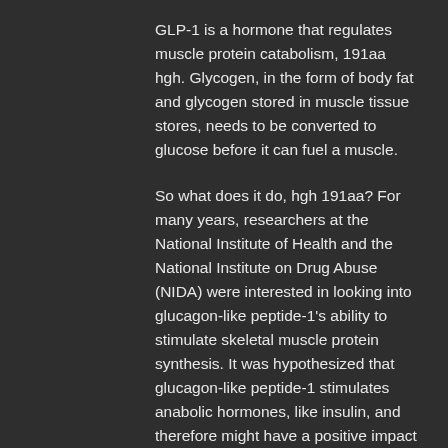GLP-1 is a hormone that regulates muscle protein catabolism, 191aa hgh. Glycogen, in the form of body fat and glycogen stored in muscle tissue stores, needs to be converted to glucose before it can fuel a muscle.
So what does it do, hgh 191aa? For many years, researchers at the National Institute of Health and the National Institute on Drug Abuse (NIDA) were interested in looking into glucagon-like peptide-1's ability to stimulate skeletal muscle protein synthesis. It was hypothesized that glucagon-like peptide-1 stimulates anabolic hormones, like insulin, and therefore might have a positive impact on health and vitality of the humans in the study.
Over the last 10 years, researchers have confirmed that glucagon-like peptide-1 does indeed stimulate a variety of different